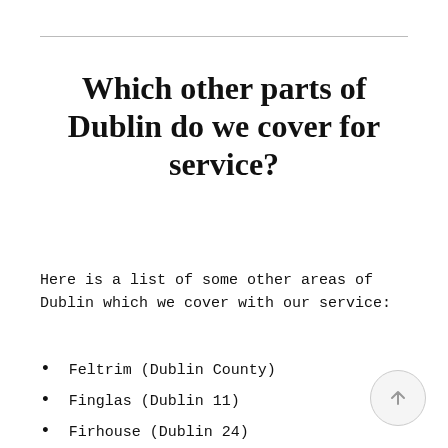Which other parts of Dublin do we cover for service?
Here is a list of some other areas of Dublin which we cover with our service:
Feltrim (Dublin County)
Finglas (Dublin 11)
Firhouse (Dublin 24)
Foxrock (Dublin 18)
Garristown (Dublin County)
Glasnevin (D11) (Dublin 11)